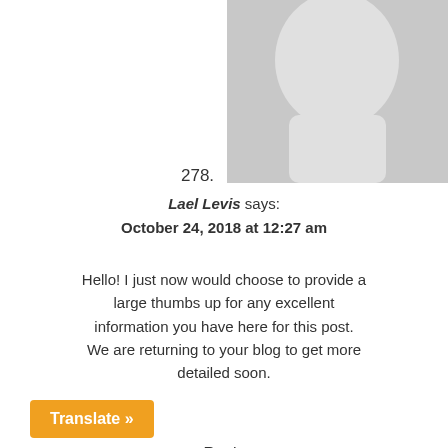[Figure (illustration): Top portion of a gray placeholder avatar image showing head silhouette at top of page]
278.
Lael Levis says:
October 24, 2018 at 12:27 am
Hello! I just now would choose to provide a large thumbs up for any excellent information you have here for this post. We are returning to your blog to get more detailed soon.
Reply
[Figure (illustration): Full gray placeholder avatar image showing head and shoulders silhouette]
Translate »